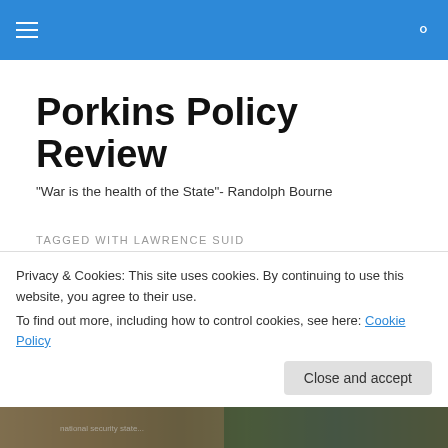Porkins Policy Review navigation bar
Porkins Policy Review
"War is the health of the State"- Randolph Bourne
TAGGED WITH LAWRENCE SUID
Porkins Policy Radio episode 99 National Security Cinema
Privacy & Cookies: This site uses cookies. By continuing to use this website, you agree to their use.
To find out more, including how to control cookies, see here: Cookie Policy
[Figure (photo): Bottom strip showing partial book/movie cover images related to National Security Cinema]